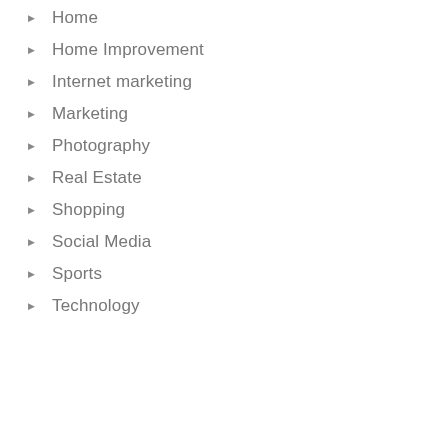Home
Home Improvement
Internet marketing
Marketing
Photography
Real Estate
Shopping
Social Media
Sports
Technology